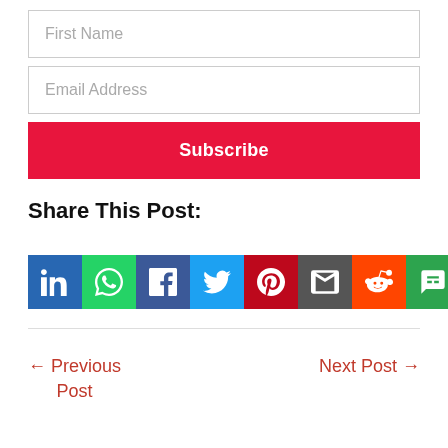First Name
Email Address
Subscribe
Share This Post:
[Figure (infographic): Row of 8 social sharing icon buttons: LinkedIn (blue), WhatsApp (green), Facebook (dark blue), Twitter (light blue), Pinterest (red), Email (dark grey), Reddit (orange), SMS (green)]
← Previous Post
Next Post →